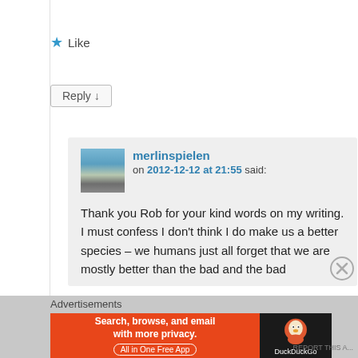Like
Reply ↓
merlinspielen on 2012-12-12 at 21:55 said:
Thank you Rob for your kind words on my writing. I must confess I don't think I do make us a better species – we humans just all forget that we are mostly better than the bad and the bad
Advertisements
[Figure (screenshot): DuckDuckGo advertisement banner: orange left side with text 'Search, browse, and email with more privacy. All in One Free App', dark right side with DuckDuckGo logo and text 'DuckDuckGo']